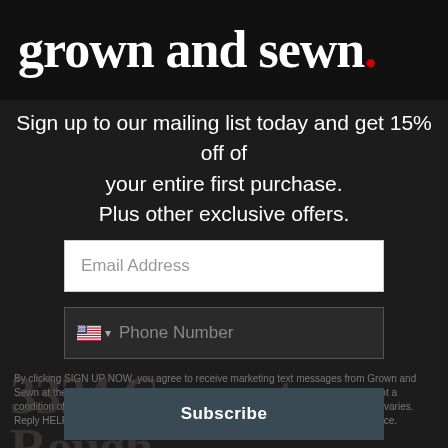grown and sewn.
Sign up to our mailing list today and get 15% off of your entire first purchase. Plus other exclusive offers.
Email Address
Phone Number
By clicking SIGN UP NOW, you agree to receive marketing text messages from Grown and Sewn at the number provided, including messages sent by autodialer. Consent is not a condition of any purchase. Message and data rates may apply. Message frequency varies. Reply HELP for help or STOP to cancel. View our Privacy Policy and Terms of Service.
3324 Concrete Rough & To
Subscribe